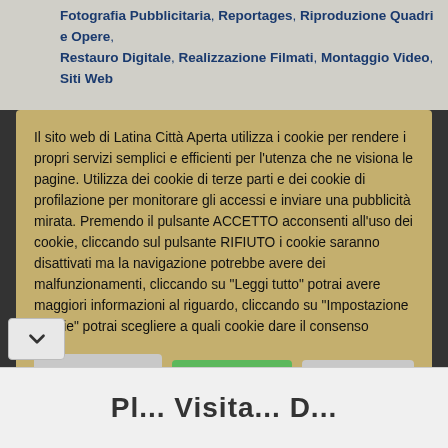Fotografia Pubblicitaria, Reportages, Riproduzione Quadri e Opere, Restauro Digitale, Realizzazione Filmati, Montaggio Video, Siti Web
Il sito web di Latina Città Aperta utilizza i cookie per rendere i propri servizi semplici e efficienti per l'utenza che ne visiona le pagine. Utilizza dei cookie di terze parti e dei cookie di profilazione per monitorare gli accessi e inviare una pubblicità mirata. Premendo il pulsante ACCETTO acconsenti all'uso dei cookie, cliccando sul pulsante RIFIUTO i cookie saranno disattivati ma la navigazione potrebbe avere dei malfunzionamenti, cliccando su "Leggi tutto" potrai avere maggiori informazioni al riguardo, cliccando su "Impostazione cookie" potrai scegliere a quali cookie dare il consenso
Impostazione cookie
ACCETTO
Leggi tutto
RIFIUTO
Pl... Visita... D...